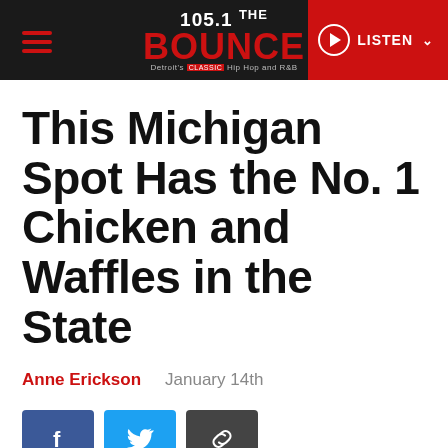105.1 THE BOUNCE — LISTEN
This Michigan Spot Has the No. 1 Chicken and Waffles in the State
Anne Erickson   January 14th
[Figure (other): Social share buttons: Facebook, Twitter, Link]